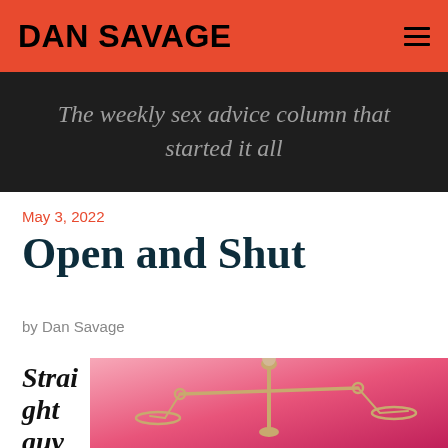DAN SAVAGE
The weekly sex advice column that started it all
May 3, 2022
Open and Shut
by Dan Savage
Straight guy
[Figure (illustration): A balance scale illustration on a pink-to-red gradient background, showing scales of justice with gold/tan coloring]